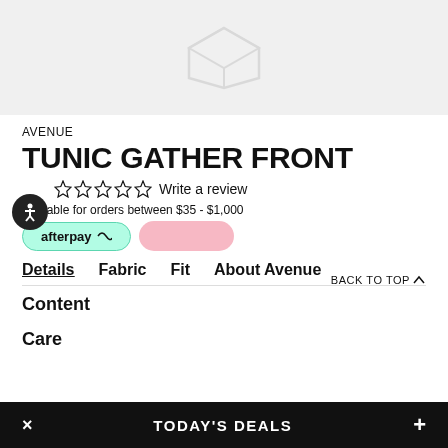[Figure (photo): Product placeholder image area with a light gray background and a faint box/package icon in the center]
AVENUE
TUNIC GATHER FRONT
☆☆☆☆☆ Write a review
available for orders between $35 - $1,000
afterpay
Details  Fabric  Fit  About Avenue  BACK TO TOP
Content
Care
× TODAY'S DEALS +